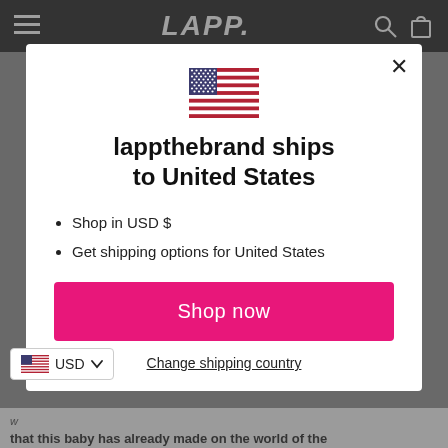LAPP. (navigation bar with hamburger menu, logo, search and cart icons)
[Figure (screenshot): Modal dialog overlay on a LAPP the brand website showing a US flag, shipping message, bullet list, Shop now button, and Change shipping country link]
lappthebrand ships to United States
Shop in USD $
Get shipping options for United States
Shop now
Change shipping country
USD
that this baby has already made on the world of the